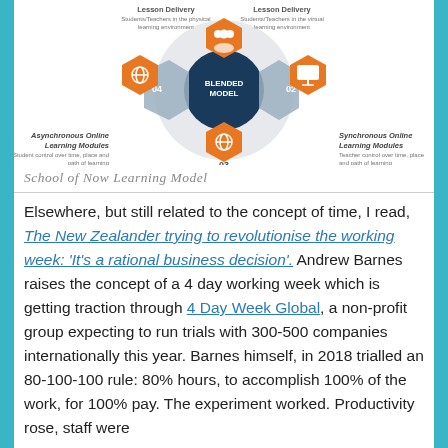[Figure (infographic): Circular blended model diagram with 4 hexagonal segments numbered 01-04. Center dark circle labeled 'BLENDED MODEL'. Segments show: 01 Lesson Delivery (Students/Teachers in the physical learning environment), 02 Lesson Delivery (Students/Teachers in the virtual learning environment), 03 Synchronous Online Learning Modules (Teacher control over time, place and path of learning), 04 Asynchronous Online Learning Modules (Student control over time, place and path of learning). Icons in orange for each segment.]
School of Now Learning Model
Elsewhere, but still related to the concept of time, I read, The New Zealander trying to revolutionise the working week: 'It's a rational business decision'. Andrew Barnes raises the concept of a 4 day working week which is getting traction through 4 Day Week Global, a non-profit group expecting to run trials with 300-500 companies internationally this year. Barnes himself, in 2018 trialled an 80-100-100 rule: 80% hours, to accomplish 100% of the work, for 100% pay. The experiment worked. Productivity rose, staff were